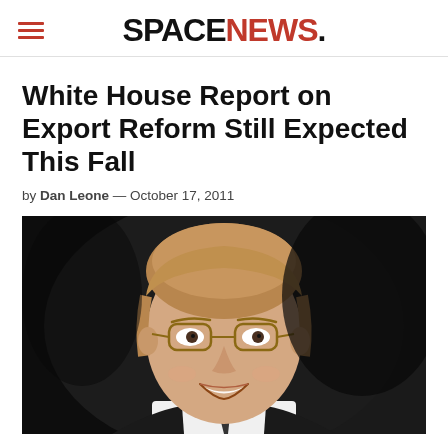SPACENEWS
White House Report on Export Reform Still Expected This Fall
by Dan Leone — October 17, 2011
[Figure (photo): Headshot of a smiling man with glasses and light brown hair, wearing a dark suit, against a dark background.]